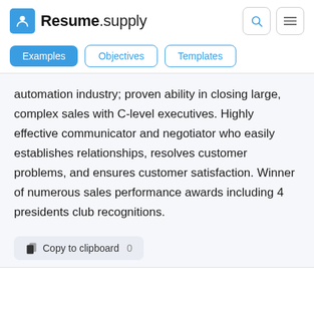Resume.supply
Examples
Objectives
Templates
automation industry; proven ability in closing large, complex sales with C-level executives. Highly effective communicator and negotiator who easily establishes relationships, resolves customer problems, and ensures customer satisfaction. Winner of numerous sales performance awards including 4 presidents club recognitions.
Copy to clipboard  0